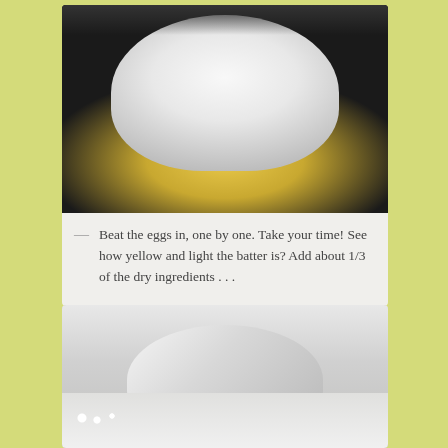[Figure (photo): Close-up photo of a mixing bowl with yellow egg-butter batter and a large mound of white flour or dry ingredients just added on top, taken from above showing the contrast between the yellow batter and white powder.]
— Beat the eggs in, one by one. Take your time! See how yellow and light the batter is? Add about 1/3 of the dry ingredients . . .
[Figure (photo): Close-up photo of a white bowl or measuring cup with white liquid (milk or cream) being poured or sitting in it, with some bubbles or foam visible.]